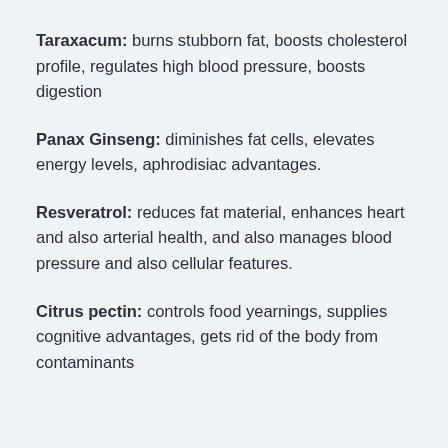Taraxacum: burns stubborn fat, boosts cholesterol profile, regulates high blood pressure, boosts digestion
Panax Ginseng: diminishes fat cells, elevates energy levels, aphrodisiac advantages.
Resveratrol: reduces fat material, enhances heart and also arterial health, and also manages blood pressure and also cellular features.
Citrus pectin: controls food yearnings, supplies cognitive advantages, gets rid of the body from contaminants